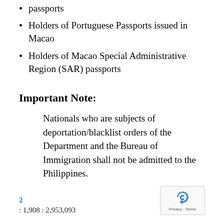passports
Holders of Portuguese Passports issued in Macao
Holders of Macao Special Administrative Region (SAR) passports
Important Note:
Nationals who are subjects of deportation/blacklist orders of the Department and the Bureau of Immigration shall not be admitted to the Philippines.
2 : 1,908 : 2,953,093